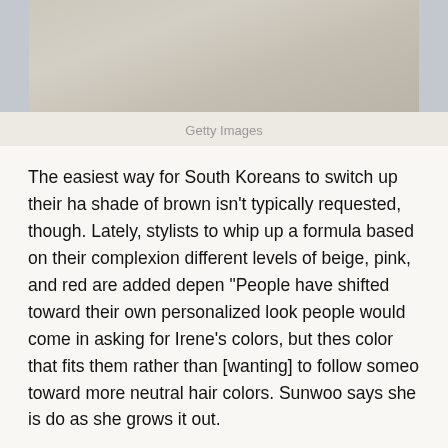[Figure (photo): Photo strip showing a person wearing a floral/textured beige jacket with a watch visible on their wrist, cropped at top]
Getty Images
The easiest way for South Koreans to switch up their ha shade of brown isn't typically requested, though. Lately, stylists to whip up a formula based on their complexion different levels of beige, pink, and red are added depen "People have shifted toward their own personalized look people would come in asking for Irene's colors, but thes color that fits them rather than [wanting] to follow someo toward more neutral hair colors. Sunwoo says she is do as she grows it out.
5. Living Coral